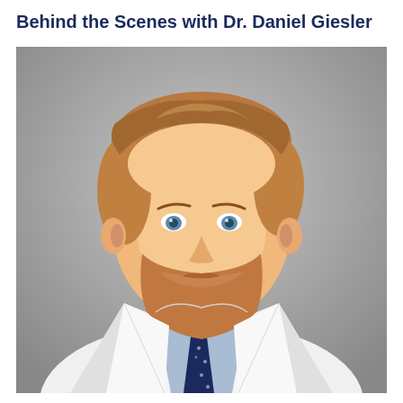Behind the Scenes with Dr. Daniel Giesler
[Figure (photo): Professional headshot of Dr. Daniel Giesler, a smiling man with short reddish-brown hair and a beard, wearing a white medical coat over a light blue collared shirt with a navy patterned tie, photographed against a gray background.]